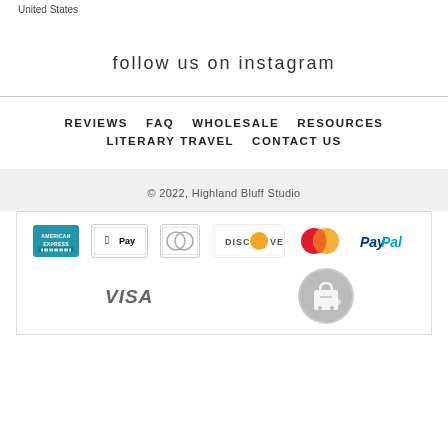United States
follow us on instagram
REVIEWS    FAQ    WHOLESALE    RESOURCES
LITERARY TRAVEL    CONTACT US
© 2022, Highland Bluff Studio
[Figure (other): Payment icons: American Express, Apple Pay, Diners Club, Discover, MasterCard, PayPal, Visa, Shopify]